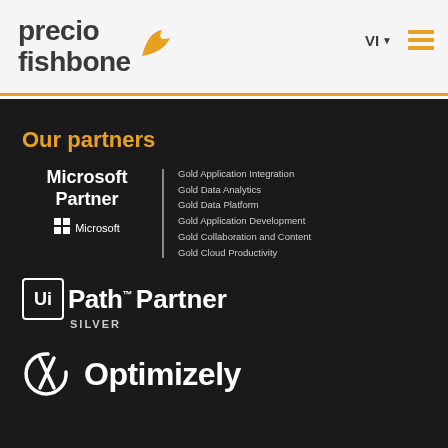[Figure (logo): Precio Fishbone logo with orange fin/shark icon in header]
VI ▼
[Figure (logo): Orange hamburger menu icon (three horizontal lines)]
Our partners
[Figure (logo): Microsoft Partner logo with Windows icon and list: Gold Application Integration, Gold Data Analytics, Gold Data Platform, Gold Application Development, Gold Collaboration and Content, Gold Cloud Productivity]
[Figure (logo): UiPath Partner Silver logo]
[Figure (logo): Optimizely logo with rocket/circle icon]